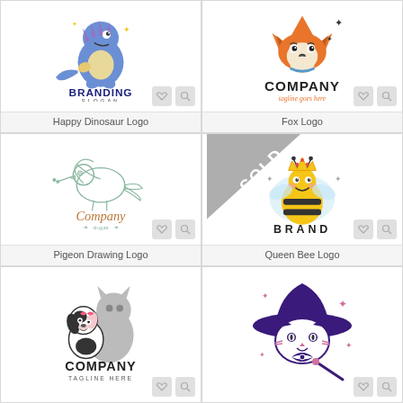[Figure (logo): Happy Dinosaur Logo - cute blue cartoon dinosaur with BRANDING SLOGAN text]
Happy Dinosaur Logo
[Figure (logo): Fox Logo - cartoon orange fox with COMPANY tagline goes here text]
Fox Logo
[Figure (logo): Pigeon Drawing Logo - sketch style pigeon bird with Company slogan text]
Pigeon Drawing Logo
[Figure (logo): Queen Bee Logo - cute cartoon bee with crown and BRAND text, SOLD ribbon overlay]
Queen Bee Logo
[Figure (logo): Company logo - cartoon dog and cat hugging with COMPANY TAGLINE HERE text]
[Figure (logo): Witch cat logo - purple cartoon cat in witch hat with wand]